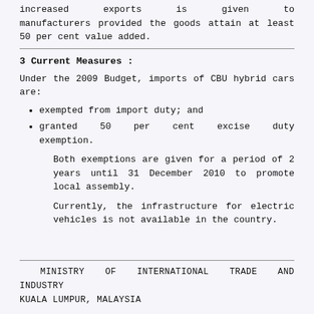increased exports is given to manufacturers provided the goods attain at least 50 per cent value added.
3 Current Measures :
Under the 2009 Budget, imports of CBU hybrid cars are:
exempted from import duty; and
granted 50 per cent excise duty exemption.
Both exemptions are given for a period of 2 years until 31 December 2010 to promote local assembly.
Currently, the infrastructure for electric vehicles is not available in the country.
MINISTRY OF INTERNATIONAL TRADE AND INDUSTRY
KUALA LUMPUR, MALAYSIA